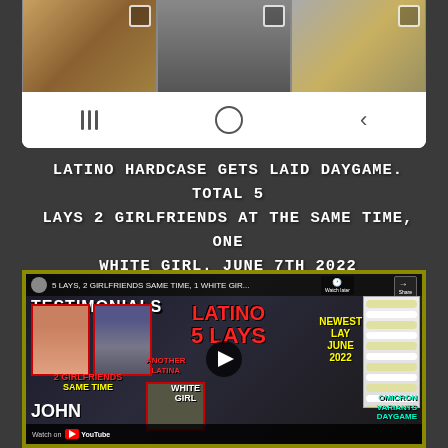[Figure (screenshot): Phone screenshot showing Instagram-style photo grid with 3 photos and Android navigation bar below]
LATINO HARDCASE GETS LAID DAYGAME. TOTAL 5 LAYS 2 GIRLFRIENDS AT THE SAME TIME, ONE WHITE GIRL. JUNE 7TH 2022
[Figure (screenshot): YouTube video thumbnail showing Latino 5 Lays testimonials video with text overlays: LATINO, 5 LAYS, 2 GIRLFRIENDS SAME TIME, ANOTHER LATINA, WHITE GIRL, NEWEST LAY JUNE 2022, OMICRON VARIANTS DAYGAME, JOHN, Watch on YouTube]